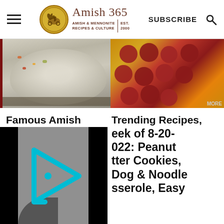Amish 365 | AMISH & MENNONITE RECIPES & CULTURE | EST. 2000 | SUBSCRIBE
[Figure (photo): Left: bowl of pasta salad with colorful vegetables; Right: hot dogs and macaroni casserole with cheese]
Famous Amish
Trending Recipes,
[Figure (screenshot): Video thumbnail with cyan/teal play button icon on gray background with black side bars]
eek of 8-20-022: Peanut tter Cookies, Dog & Noodle sserole, Easy
Summer Salad,